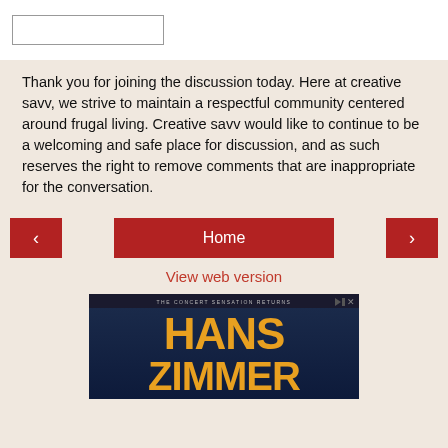[Figure (screenshot): White top bar with a search box input field]
Thank you for joining the discussion today. Here at creative savv, we strive to maintain a respectful community centered around frugal living. Creative savv would like to continue to be a welcoming and safe place for discussion, and as such reserves the right to remove comments that are inappropriate for the conversation.
< Home >
View web version
[Figure (photo): Advertisement banner for Hans Zimmer concert - THE CONCERT SENSATION RETURNS text at top, large yellow HANS ZIMMER text on dark blue background with concert lighting]